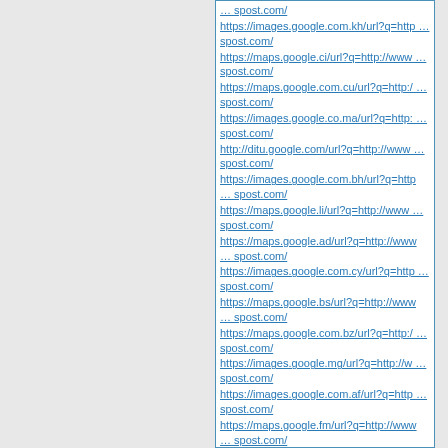… spost.com/
https://images.google.com.kh/url?q=http … spost.com/
https://maps.google.ci/url?q=http://www … spost.com/
https://maps.google.com.cu/url?q=http:/ … spost.com/
https://images.google.co.ma/url?q=http: … spost.com/
http://ditu.google.com/url?q=http://www … spost.com/
https://images.google.com.bh/url?q=http … spost.com/
https://maps.google.li/url?q=http://www … spost.com/
https://maps.google.ad/url?q=http://www … spost.com/
https://images.google.com.cy/url?q=http … spost.com/
https://maps.google.bs/url?q=http://www … spost.com/
https://maps.google.com.bz/url?q=http:/ … spost.com/
https://images.google.mg/url?q=http://w … spost.com/
https://images.google.com.af/url?q=http … spost.com/
https://maps.google.fm/url?q=http://www … spost.com/
https://images.google.com.jm/url?q=http